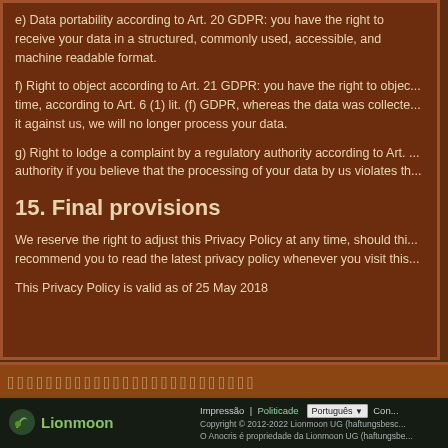e) Data portability according to Art. 20 GDPR: you have the right to receive your data in a structured, commonly used, accessible, and machine readable format.
f) Right to object according to Art. 21 GDPR: you have the right to object to the processing of your data at any time, according to Art. 6 (1) lit. (f) GDPR, whereas the data was collected. If you use your right to object and use it against us, we will no longer process your data.
g) Right to lodge a complaint by a regulatory authority according to Art. ... you have the right to complain to a regulatory authority if you believe that the processing of your data by us violates th...
15. Final provisions
We reserve the right to adjust this Privacy Policy at any time, should thi... recommend you to read the latest privacy policy whenever you visit this...
This Privacy Policy is valid as of 25 May 2018
[Figure (illustration): Decorative hieroglyphic band with Egyptian symbols]
[Figure (photo): Egyptian scene with Nile river and landscape]
Impressão | Politicade | Português | Con... Copyright © 2012-2022 Lionmoon UG (haftungsbeschränkt) O Anocris é propriedade da Lionmoon UG (haftungsbe...